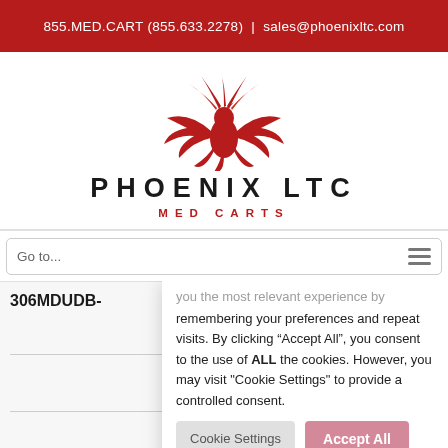855.MED.CART (855.633.2278) | sales@phoenixltc.com
[Figure (logo): Phoenix LTC Med Carts logo with red phoenix bird above the text PHOENIX LTC in bold black letters and MED CARTS in red spaced letters below]
Go to...
306MDUDB-
you the most relevant experience by remembering your preferences and repeat visits. By clicking “Accept All”, you consent to the use of ALL the cookies. However, you may visit "Cookie Settings" to provide a controlled consent.
Cookie Settings
Accept All